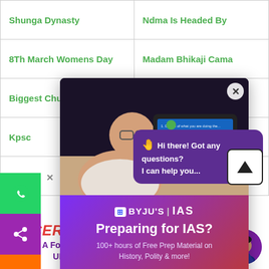| Shunga Dynasty | Ndma Is Headed By |
| 8Th March Womens Day | Madam Bhikaji Cama |
| Biggest Church In India | World Happiness Report |
| Kpsc... |  |
| Upps... |  |
[Figure (screenshot): BYJU'S IAS popup ad with tablet image showing online class, text: Preparing for IAS? 100+ hours of Free Prep Material on History, Polity & more!, Register button]
[Figure (screenshot): Chat bubble: Hi there! Got any questions? I can help you...]
[Figure (infographic): NCERT Fundamentals - A Foundation Stone for Your UPSC CSE Preparation, with instructor face circle]
NCERT Fundamentals
A Foundation Stone for Your UPSC CSE Preparation